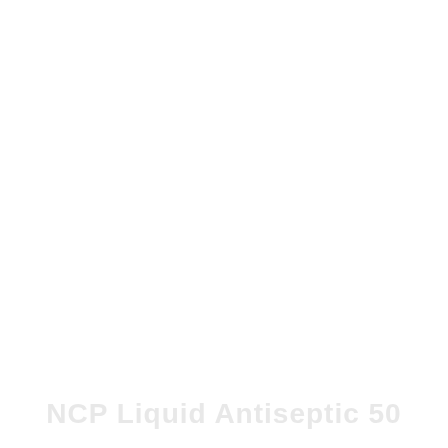[Figure (other): Blank white page with a faint watermark text reading 'NCP Liquid Antiseptic 50' at the bottom]